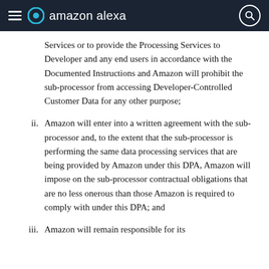amazon alexa
Services or to provide the Processing Services to Developer and any end users in accordance with the Documented Instructions and Amazon will prohibit the sub-processor from accessing Developer-Controlled Customer Data for any other purpose;
ii. Amazon will enter into a written agreement with the sub-processor and, to the extent that the sub-processor is performing the same data processing services that are being provided by Amazon under this DPA, Amazon will impose on the sub-processor contractual obligations that are no less onerous than those Amazon is required to comply with under this DPA; and
iii. Amazon will remain responsible for its